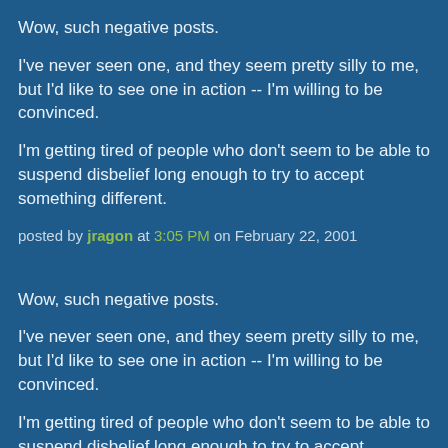Wow, such negative posts.
I've never seen one, and they seem pretty silly to me, but I'd like to see one in action -- I'm willing to be convinced.
I'm getting tired of people who don't seem to be able to suspend disbelief long enough to try to accept something different.
posted by jragon at 3:05 PM on February 22, 2001
Wow, such negative posts.
I've never seen one, and they seem pretty silly to me, but I'd like to see one in action -- I'm willing to be convinced.
I'm getting tired of people who don't seem to be able to suspend disbelief long enough to try to accept something different.